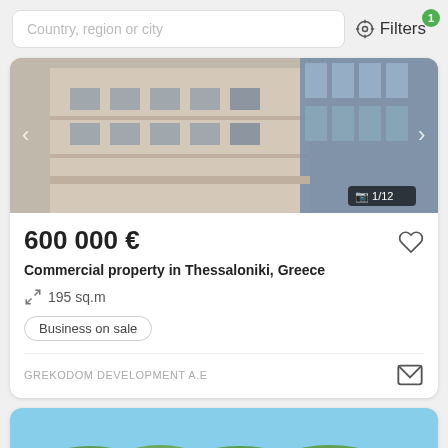Country, region or city
Filters 1
[Figure (photo): Exterior photo of a classical European building facade, beige stone, multiple floors with ornate windows, modern glass building partially visible at top right. Navigation arrows visible. Image counter shows 1/12.]
600 000 €
Commercial property in Thessaloniki, Greece
195 sq.m
Business on sale
GREKODOM DEVELOPMENT A.E
[Figure (photo): Outdoor landscape photo showing a hillside with dense green trees, rooftops partially visible, blue sky above. Bottom of second property listing card.]